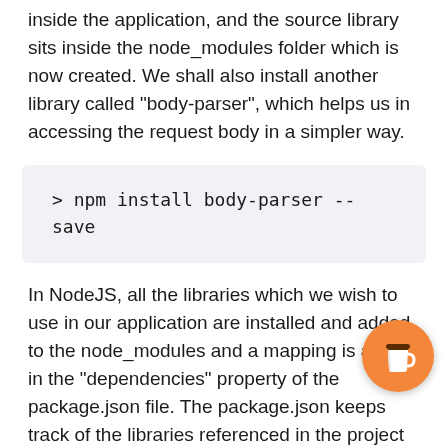inside the application, and the source library sits inside the node_modules folder which is now created. We shall also install another library called "body-parser", which helps us in accessing the request body in a simpler way.
> npm install body-parser --save
In NodeJS, all the libraries which we wish to use in our application are installed and added to the node_modules and a mapping is added in the "dependencies" property of the package.json file. The package.json keeps track of the libraries referenced in the project using the "dependencies" property in the json.
[Figure (photo): Dark green foliage/nature image strip at the bottom of the page]